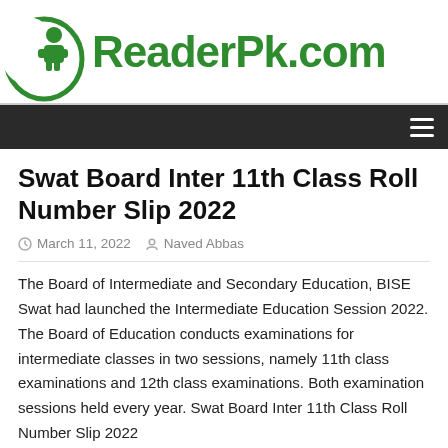ReaderPk.com
Swat Board Inter 11th Class Roll Number Slip 2022
March 11, 2022  Naved Abbas
The Board of Intermediate and Secondary Education, BISE Swat had launched the Intermediate Education Session 2022. The Board of Education conducts examinations for intermediate classes in two sessions, namely 11th class examinations and 12th class examinations. Both examination sessions held every year. Swat Board Inter 11th Class Roll Number Slip 2022